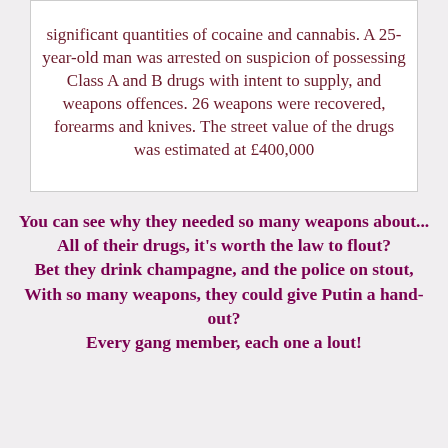significant quantities of cocaine and cannabis. A 25-year-old man was arrested on suspicion of possessing Class A and B drugs with intent to supply, and weapons offences. 26 weapons were recovered, forearms and knives. The street value of the drugs was estimated at £400,000
You can see why they needed so many weapons about...
All of their drugs, it's worth the law to flout?
Bet they drink champagne, and the police on stout,
With so many weapons, they could give Putin a hand-out?
Every gang member, each one a lout!